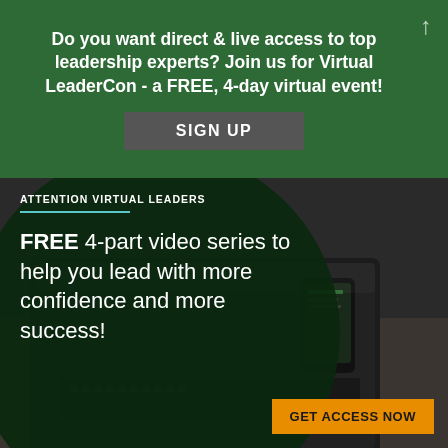Do you want direct & live access to top leadership experts? Join us for Virtual LeaderCon - a FREE, 4-day virtual event!
SIGN UP
[Figure (infographic): Advertisement image showing a laptop on a desk with a large dark green circle overlay. Text inside circle reads: ATTENTION VIRTUAL LEADERS (with teal underline), FREE 4-part video series to help you lead with more confidence and more success! An orange button reads GET ACCESS NOW.]